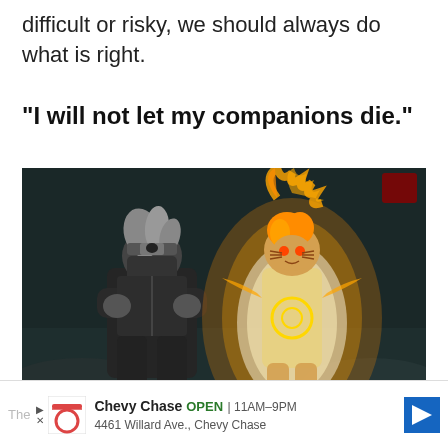difficult or risky, we should always do what is right.
“I will not let my companions die.”
[Figure (illustration): Anime screenshot showing two characters from Naruto: Kakashi (left) with arms crossed wearing dark ninja outfit and headband, and Naruto (right) in glowing orange/gold chakra mode with flames surrounding him, standing on rocky terrain with dark background.]
The
Chevy Chase  OPEN  11AM–9PM  4461 Willard Ave., Chevy Chase